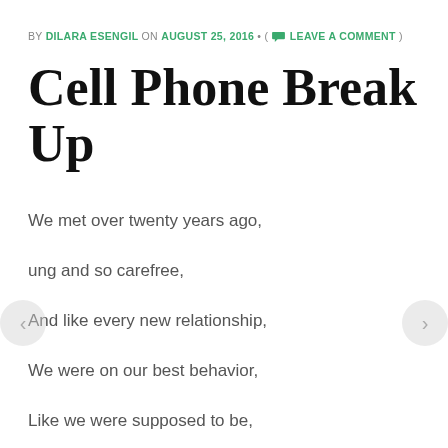BY DILARA ESENGIL ON AUGUST 25, 2016 • ( LEAVE A COMMENT )
Cell Phone Break Up
We met over twenty years ago,
ung and so carefree,
And like every new relationship,
We were on our best behavior,
Like we were supposed to be,